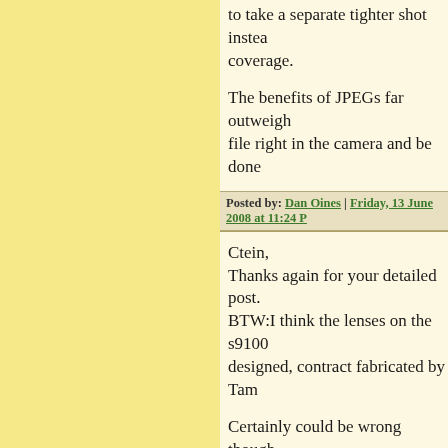to take a separate tighter shot instead coverage.
The benefits of JPEGs far outweigh file right in the camera and be done
Posted by: Dan Oines | Friday, 13 June 2008 at 11:24
Ctein,
Thanks again for your detailed post.
BTW:I think the lenses on the s9100 designed, contract fabricated by Tam
Certainly could be wrong though.
Intresting though. I used to use a fuji superb Fujion lense. Also used (amo enlarger lenses. All where excellent. But for the color problem, I would b
Posted by: Jay Moynihan | Saturday, 14 June 2008 at